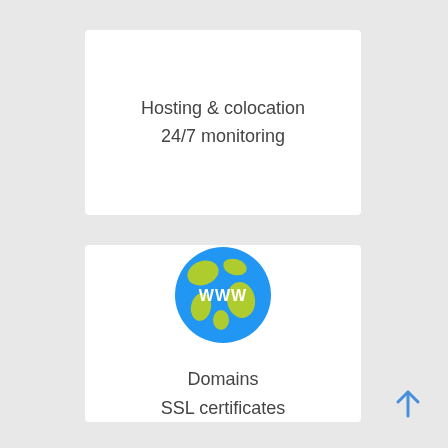Hosting & colocation
24/7 monitoring
[Figure (illustration): Globe icon with blue background and green continents, showing 'WWW' text in white]
Domains
SSL certificates
[Figure (illustration): Blue upward arrow button in bottom right corner]